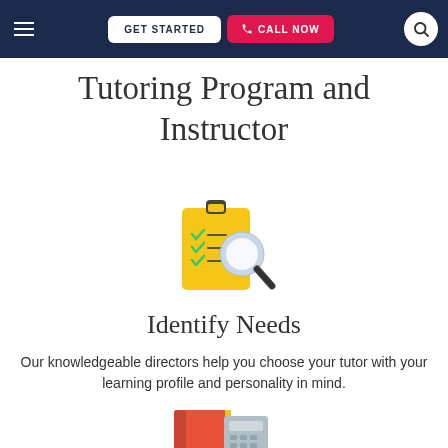GET STARTED  CALL NOW
Tutoring Program and Instructor
[Figure (illustration): Clipboard with checklist and magnifying glass icon]
Identify Needs
Our knowledgeable directors help you choose your tutor with your learning profile and personality in mind.
[Figure (illustration): Red book and calculator icon]